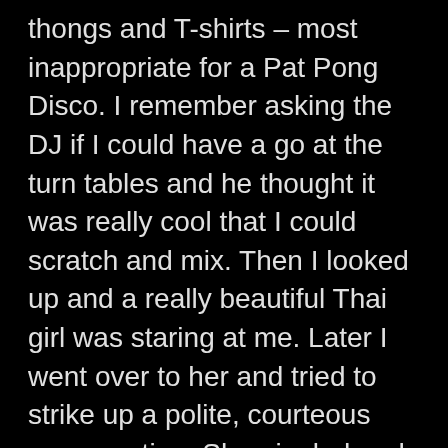thongs and T-shirts – most inappropriate for a Pat Pong Disco. I remember asking the DJ if I could have a go at the turn tables and he thought it was really cool that I could scratch and mix. Then I looked up and a really beautiful Thai girl was staring at me. Later I went over to her and tried to strike up a polite, courteous conversation. She giggled and smiled a bit and was happy to talk to me. I remember thinking I had better be careful in case I was chatting up some Thai dude's girl and he would want to come over and start a fight with me. The night was getting on and we were on a tight budget so I asked the girl when she would be back at the disco again. She told me she would be back the following night. I couldn't quite understand that. Later I learned that she was exactly the same as all the other hot chicks in the joint. She